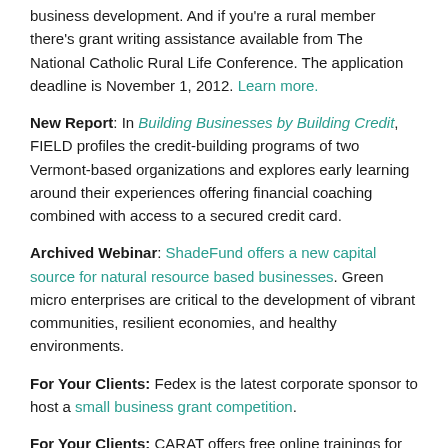business development. And if you're a rural member there's grant writing assistance available from The National Catholic Rural Life Conference. The application deadline is November 1, 2012. Learn more.
New Report: In Building Businesses by Building Credit, FIELD profiles the credit-building programs of two Vermont-based organizations and explores early learning around their experiences offering financial coaching combined with access to a secured credit card.
Archived Webinar: ShadeFund offers a new capital source for natural resource based businesses. Green micro enterprises are critical to the development of vibrant communities, resilient economies, and healthy environments.
For Your Clients: Fedex is the latest corporate sponsor to host a small business grant competition.
For Your Clients: CARAT offers free online trainings for